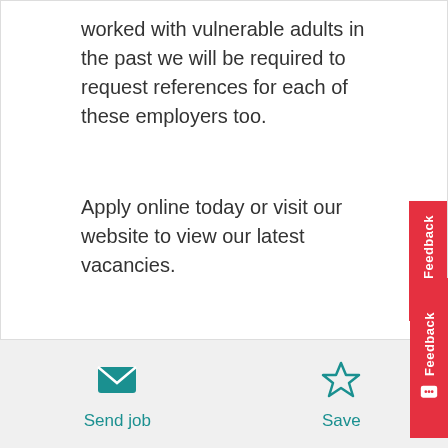worked with vulnerable adults in the past we will be required to request references for each of these employers too.
Apply online today or visit our website to view our latest vacancies.
Northern Healthcare reserve the right to remove this vacancy at any time due to higher than expected applications that we receive.
Send job
Save